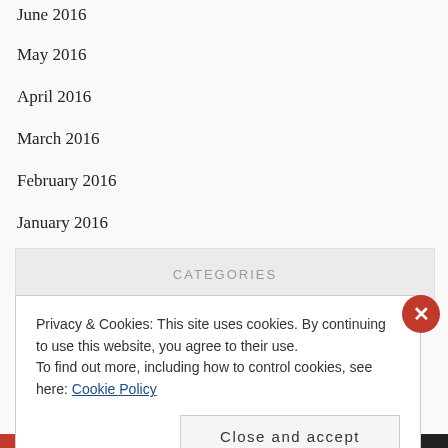June 2016
May 2016
April 2016
March 2016
February 2016
January 2016
CATEGORIES
Privacy & Cookies: This site uses cookies. By continuing to use this website, you agree to their use.
To find out more, including how to control cookies, see here: Cookie Policy
Close and accept